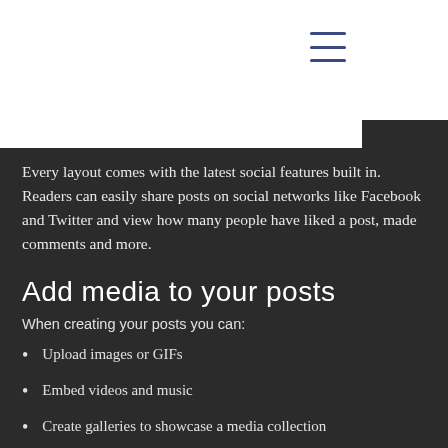ROSENEATH creative
Every layout comes with the latest social features built in. Readers can easily share posts on social networks like Facebook and Twitter and view how many people have liked a post, made comments and more.
Add media to your posts
When creating your posts you can:
Upload images or GIFs
Embed videos and music
Create galleries to showcase a media collection